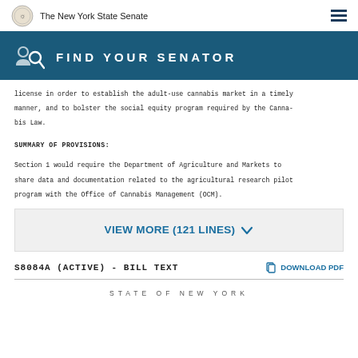The New York State Senate
[Figure (infographic): Find Your Senator banner with search icon and teal background]
license in order to establish the adult-use cannabis market in a timely manner, and to bolster the social equity program required by the Cannabis Law.
SUMMARY OF PROVISIONS:
Section 1 would require the Department of Agriculture and Markets to share data and documentation related to the agricultural research pilot program with the Office of Cannabis Management (OCM).
VIEW MORE (121 LINES)
S8084A (ACTIVE) - BILL TEXT
DOWNLOAD PDF
STATE OF NEW YORK